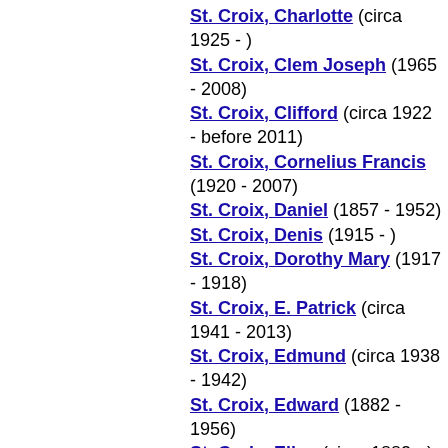St. Croix, Charlotte (circa 1925 - )
St. Croix, Clem Joseph (1965 - 2008)
St. Croix, Clifford (circa 1922 - before 2011)
St. Croix, Cornelius Francis (1920 - 2007)
St. Croix, Daniel (1857 - 1952)
St. Croix, Denis (1915 - )
St. Croix, Dorothy Mary (1917 - 1918)
St. Croix, E. Patrick (circa 1941 - 2013)
St. Croix, Edmund (circa 1938 - 1942)
St. Croix, Edward (1882 - 1956)
St. Croix, Ellen (circa 1882 - )
St. Croix, Ellen Joseph (1858 - 1881)
St. Croix, Emma (1909 - )
St. Croix, Esther Frances (1912 - 2008)
St. Croix, Eugene (circa 1934 - )